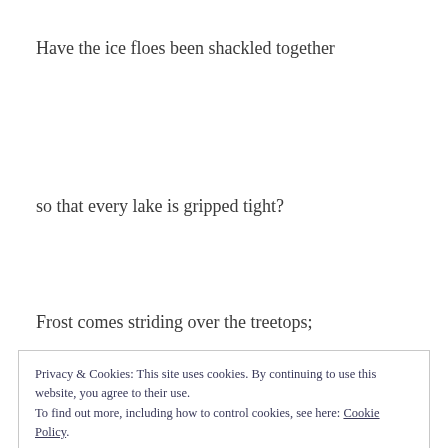Have the ice floes been shackled together
so that every lake is gripped tight?
Frost comes striding over the treetops;
Privacy & Cookies: This site uses cookies. By continuing to use this website, you agree to their use.
To find out more, including how to control cookies, see here: Cookie Policy
Close and accept